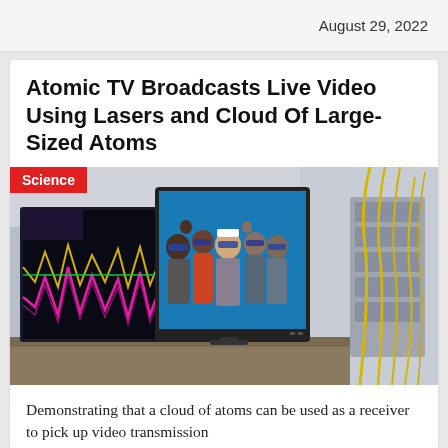August 29, 2022
Atomic TV Broadcasts Live Video Using Lasers and Cloud Of Large-Sized Atoms
[Figure (photo): Laboratory photo showing two computer monitors on a workbench. The left monitor displays colorful spectral waveforms (magenta, yellow, green). The center monitor shows a group of five people wearing safety goggles waving at the camera against a blue background. The right side of the image shows laboratory equipment with yellow fiber optic cables.]
Demonstrating that a cloud of atoms can be used as a receiver to pick up video transmission